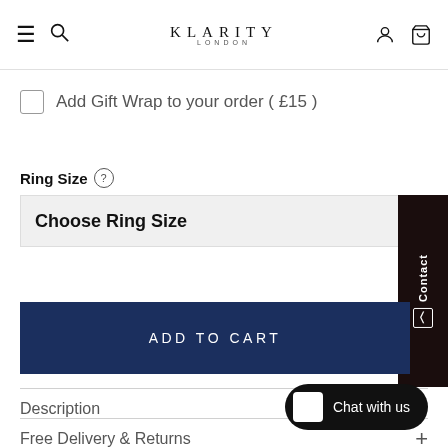KLARITY LONDON — Navigation bar with menu, search, account, cart icons
Add Gift Wrap to your order ( £15 )
Ring Size
Choose Ring Size
ADD TO CART
Description
Free Delivery & Returns
Chat with us